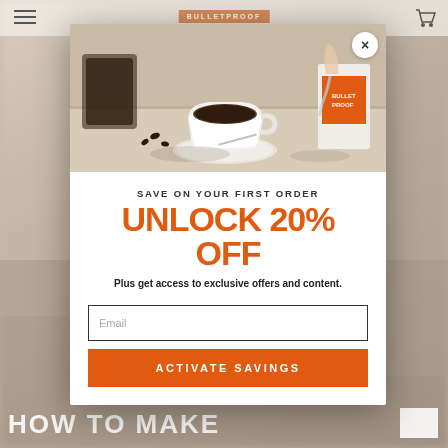[Figure (screenshot): Blurred website background showing Bulletproof coffee brand page with coffee imagery and navigation]
[Figure (photo): Modal popup overlay on a website. Shows a coffee cup with liquid being poured, a jar of coffee beans, and a Bulletproof product container. Close X button in top right.]
SAVE ON YOUR FIRST ORDER
UNLOCK 20% OFF
Plus get access to exclusive offers and content.
Email
ACTIVATE SAVINGS
HOW TO MAKE